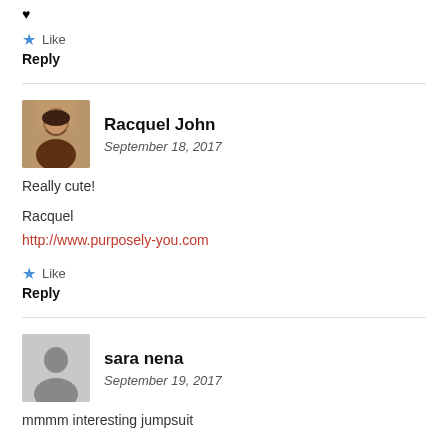♥
★ Like
Reply
Racquel John
September 18, 2017
Really cute!
Racquel
http://www.purposely-you.com
★ Like
Reply
sara nena
September 19, 2017
mmmm interesting jumpsuit